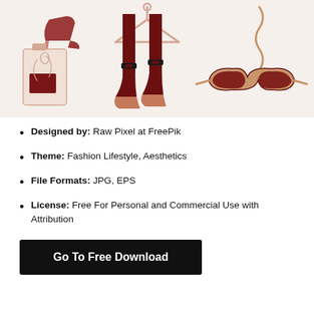[Figure (illustration): Fashion lifestyle illustration showing accessories: perfume bottle, knee-high boots, cat-eye sunglasses, clothes hanger, and decorative squiggles on a light beige background with a blue bar at top.]
Designed by: Raw Pixel at FreePik
Theme: Fashion Lifestyle, Aesthetics
File Formats: JPG, EPS
License: Free For Personal and Commercial Use with Attribution
Go To Free Download